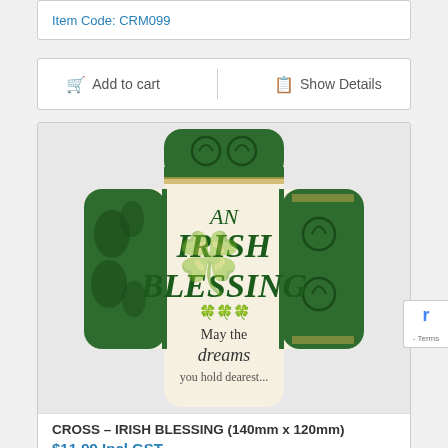Item Code: CRM099
Add to cart | Show Details
[Figure (photo): An Irish Blessing decorative cross plaque (140mm x 120mm) with green Celtic knotwork design and text reading 'AN IRISH BLESSING, May the dreams...']
CROSS – IRISH BLESSING (140mm x 120mm)
$11.99 Incl GST